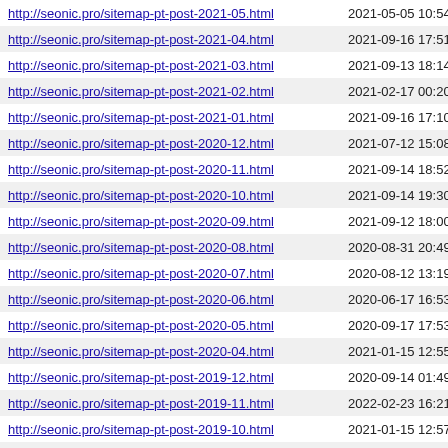http://seonic.pro/sitemap-pt-post-2021-05.html 2021-05-05 10:54
http://seonic.pro/sitemap-pt-post-2021-04.html 2021-09-16 17:51
http://seonic.pro/sitemap-pt-post-2021-03.html 2021-09-13 18:14
http://seonic.pro/sitemap-pt-post-2021-02.html 2021-02-17 00:20
http://seonic.pro/sitemap-pt-post-2021-01.html 2021-09-16 17:10
http://seonic.pro/sitemap-pt-post-2020-12.html 2021-07-12 15:08
http://seonic.pro/sitemap-pt-post-2020-11.html 2021-09-14 18:52
http://seonic.pro/sitemap-pt-post-2020-10.html 2021-09-14 19:30
http://seonic.pro/sitemap-pt-post-2020-09.html 2021-09-12 18:00
http://seonic.pro/sitemap-pt-post-2020-08.html 2020-08-31 20:49
http://seonic.pro/sitemap-pt-post-2020-07.html 2020-08-12 13:19
http://seonic.pro/sitemap-pt-post-2020-06.html 2020-06-17 16:53
http://seonic.pro/sitemap-pt-post-2020-05.html 2020-09-17 17:53
http://seonic.pro/sitemap-pt-post-2020-04.html 2021-01-15 12:55
http://seonic.pro/sitemap-pt-post-2019-12.html 2020-09-14 01:49
http://seonic.pro/sitemap-pt-post-2019-11.html 2022-02-23 16:21
http://seonic.pro/sitemap-pt-post-2019-10.html 2021-01-15 12:57
http://seonic.pro/sitemap-pt-post-2019-09.html 2019-09-24 16:57
http://seonic.pro/sitemap-pt-post-2019-07.html 2021-09-12 17:43